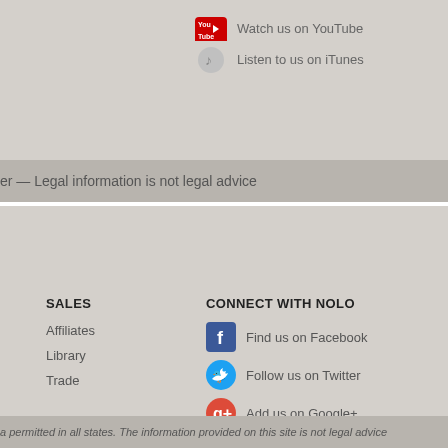Watch us on YouTube
Listen to us on iTunes
er — Legal information is not legal advice
SALES
Affiliates
Library
Trade
CONNECT WITH NOLO
Find us on Facebook
Follow us on Twitter
Add us on Google+
Watch us on YouTube
Listen to us on iTunes
a permitted in all states. The information provided on this site is not legal advice